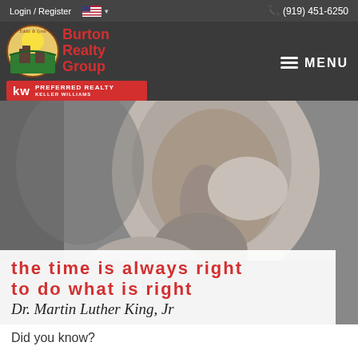Login / Register  🇺🇸  (919) 451-6250
[Figure (logo): Burton Realty Group logo with circular emblem showing trees and sun, red text, Keller Williams badge below]
MENU
[Figure (photo): Grayscale close-up portrait of a man in a contemplative pose with hand near chin, overlaid with a white semi-transparent box containing a quote in red bold text: 'the time is always right to do what is right' and cursive signature 'Dr. Martin Luther King, Jr']
Did you know?